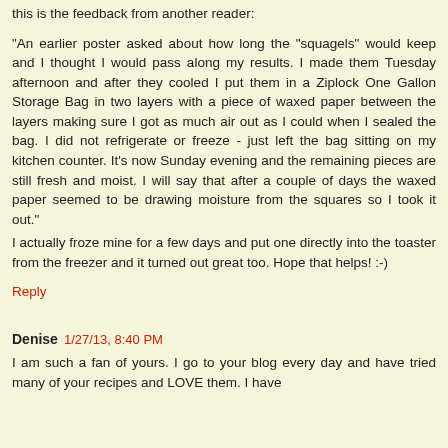this is the feedback from another reader:
"An earlier poster asked about how long the "squagels" would keep and I thought I would pass along my results. I made them Tuesday afternoon and after they cooled I put them in a Ziplock One Gallon Storage Bag in two layers with a piece of waxed paper between the layers making sure I got as much air out as I could when I sealed the bag. I did not refrigerate or freeze - just left the bag sitting on my kitchen counter. It's now Sunday evening and the remaining pieces are still fresh and moist. I will say that after a couple of days the waxed paper seemed to be drawing moisture from the squares so I took it out."
I actually froze mine for a few days and put one directly into the toaster from the freezer and it turned out great too. Hope that helps! :-)
Reply
Denise  1/27/13, 8:40 PM
I am such a fan of yours. I go to your blog every day and have tried many of your recipes and LOVE them. I have